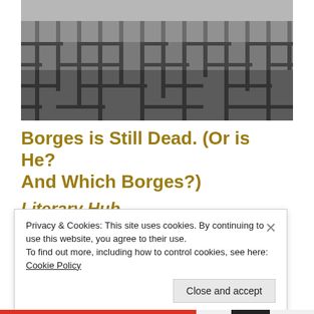[Figure (photo): Aerial view of a vast grey 3D maze with tall walls, black and white photograph]
Borges is Still Dead. (Or is He? And Which Borges?)
Literary Hub
Privacy & Cookies: This site uses cookies. By continuing to use this website, you agree to their use.
To find out more, including how to control cookies, see here: Cookie Policy
Close and accept